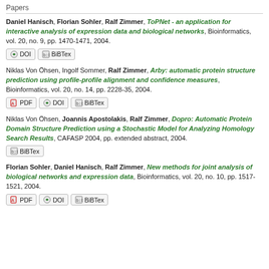Papers
Daniel Hanisch, Florian Sohler, Ralf Zimmer, ToPNet - an application for interactive analysis of expression data and biological networks, Bioinformatics, vol. 20, no. 9, pp. 1470-1471, 2004.
Niklas Von Öhsen, Ingolf Sommer, Ralf Zimmer, Arby: automatic protein structure prediction using profile-profile alignment and confidence measures, Bioinformatics, vol. 20, no. 14, pp. 2228-35, 2004.
Niklas Von Öhsen, Joannis Apostolakis, Ralf Zimmer, Dopro: Automatic Protein Domain Structure Prediction using a Stochastic Model for Analyzing Homology Search Results, CAFASP 2004, pp. extended abstract, 2004.
Florian Sohler, Daniel Hanisch, Ralf Zimmer, New methods for joint analysis of biological networks and expression data, Bioinformatics, vol. 20, no. 10, pp. 1517-1521, 2004.